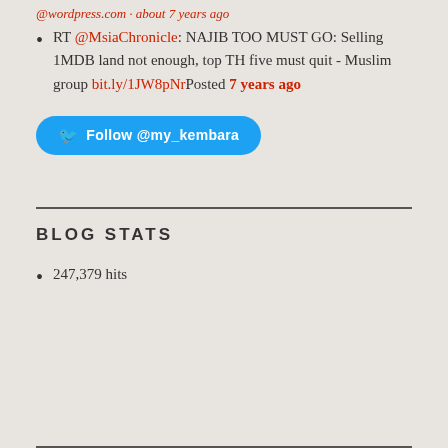@wordpress.com · about 7 years ago
RT @MsiaChronicle: NAJIB TOO MUST GO: Selling 1MDB land not enough, top TH five must quit - Muslim group bit.ly/1JW8pNr Posted 7 years ago
[Figure (other): Twitter Follow button: Follow @my_kembara]
BLOG STATS
247,379 hits